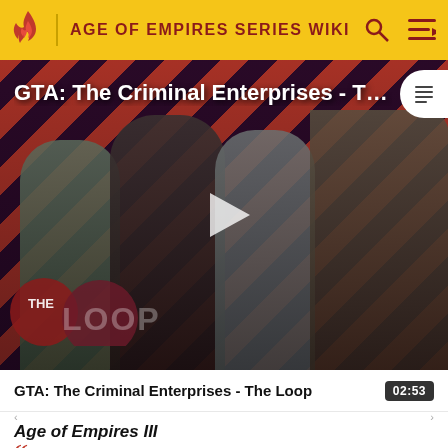AGE OF EMPIRES SERIES WIKI
[Figure (screenshot): Video thumbnail for 'GTA: The Criminal Enterprises - The Loop' showing game characters on a red diagonal striped background with a play button overlay and The Loop logo in the lower left.]
GTA: The Criminal Enterprises - The Loop
02:53
Age of Empires III